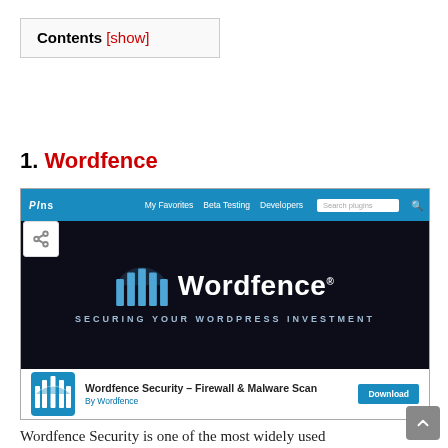Contents [show]
1. Wordfence
[Figure (screenshot): Screenshot of WordPress plugin repository page showing the Wordfence Security plugin. Top blue navigation bar with 'My Favorites', 'Beta Testing', 'Developers', and a search field. A share icon on the left. The main banner shows the Wordfence logo (blue arch/fence icon) and the text 'Wordfence' with tagline 'SECURING YOUR WORDPRESS INVESTMENT' on a dark background. Below is a plugin info row with the Wordfence icon, 'Wordfence Security – Firewall & Malware Scan', 'By Wordfence', and a 'Download' button.]
Wordfence Security is one of the most widely used